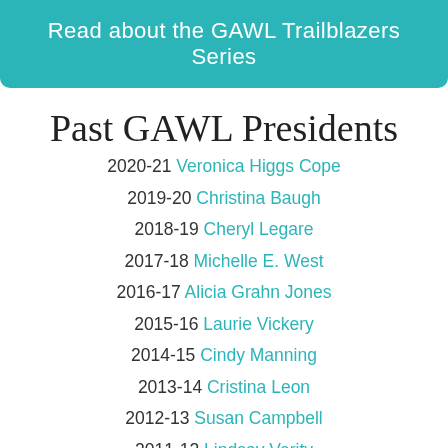Read about the GAWL Trailblazers Series
Past GAWL Presidents
2020-21 Veronica Higgs Cope
2019-20 Christina Baugh
2018-19 Cheryl Legare
2017-18 Michelle E. West
2016-17 Alicia Grahn Jones
2015-16 Laurie Vickery
2014-15 Cindy Manning
2013-14 Cristina Leon
2012-13 Susan Campbell
2011-12 Lindsay Verity
2010-11 (partially visible)